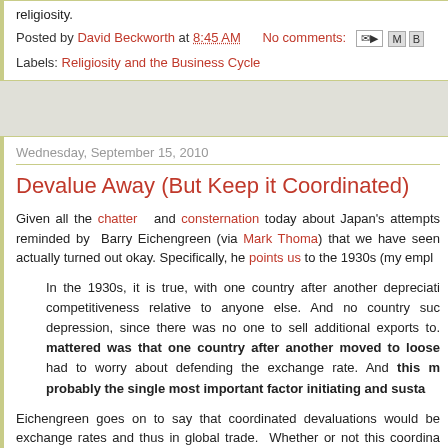religiosity.
Posted by David Beckworth at 8:45 AM    No comments:
Labels: Religiosity and the Business Cycle
Wednesday, September 15, 2010
Devalue Away (But Keep it Coordinated)
Given all the chatter and consternation today about Japan's attempts reminded by Barry Eichengreen (via Mark Thoma) that we have seen actually turned out okay. Specifically, he points us to the 1930s (my emph
In the 1930s, it is true, with one country after another depreciati competitiveness relative to anyone else. And no country suc depression, since there was no one to sell additional exports to. mattered was that one country after another moved to loose had to worry about defending the exchange rate. And this m probably the single most important factor initiating and susta
Eichengreen goes on to say that coordinated devaluations would be exchange rates and thus in global trade. Whether or not this coordina currency devaluation may be exactly what the world economy needs rig